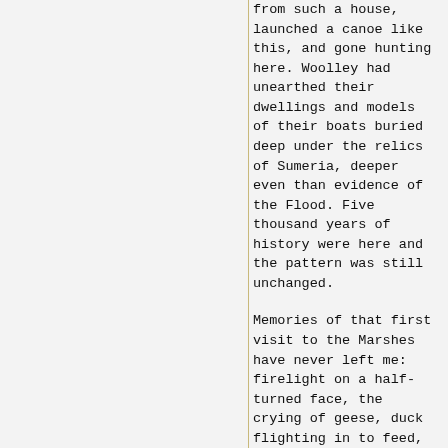from such a house, launched a canoe like this, and gone hunting here. Woolley had unearthed their dwellings and models of their boats buried deep under the relics of Sumeria, deeper even than evidence of the Flood. Five thousand years of history were here and the pattern was still unchanged.
Memories of that first visit to the Marshes have never left me: firelight on a half-turned face, the crying of geese, duck flighting in to feed, a boy's voice singing somewhere in the dark, canoes moving in procession down a waterway, the setting sun seen crimson through the smoke of burning reedbeds, narrow waterways that wound still deeper into the Marshes. A and b opinions with